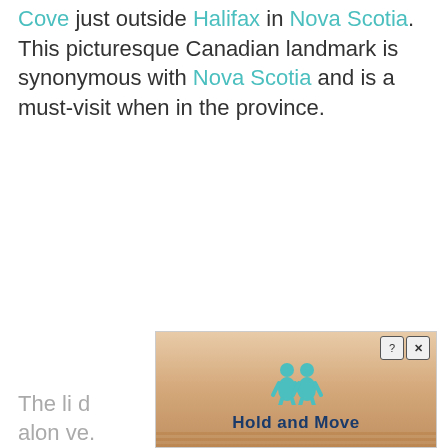Cove just outside Halifax in Nova Scotia. This picturesque Canadian landmark is synonymous with Nova Scotia and is a must-visit when in the province.
The li... d alon... ve.
[Figure (other): Advertisement overlay showing 'Hold and Move' with two blue cartoon figures and close/help buttons, displayed over a wood-grain textured background]